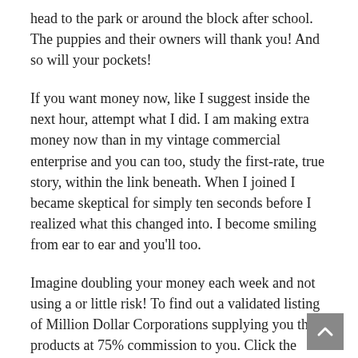head to the park or around the block after school. The puppies and their owners will thank you! And so will your pockets!
If you want money now, like I suggest inside the next hour, attempt what I did. I am making extra money now than in my vintage commercial enterprise and you can too, study the first-rate, true story, within the link beneath. When I joined I became skeptical for simply ten seconds before I realized what this changed into. I become smiling from ear to ear and you'll too.
Imagine doubling your money each week and not using a or little risk! To find out a validated listing of Million Dollar Corporations supplying you their products at 75% commission to you. Click the hyperlink underneath to research HOW you'll start